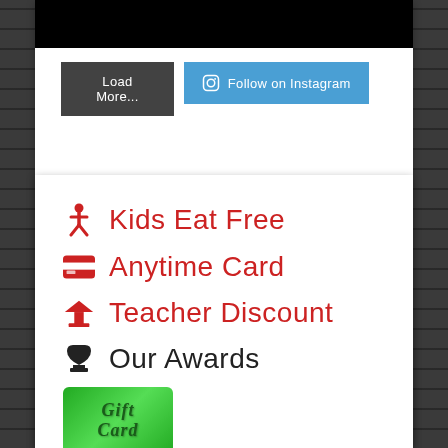[Figure (screenshot): Black image bar at top of card]
Load More...
Follow on Instagram
Kids Eat Free
Anytime Card
Teacher Discount
Our Awards
[Figure (illustration): Gift Card green image with text 'Gift Card']